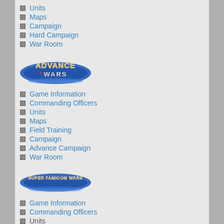Units
Maps
Campaign
Hard Campaign
War Room
[Figure (logo): Advance Wars logo - blue metallic banner with orange/white text reading ADVANCE WARS with a star/lightning bolt accent]
Game Information
Commanding Officers
Units
Maps
Field Training
Campaign
Advance Campaign
War Room
[Figure (logo): Super Famicom Wars logo - blue metallic banner with gold/white text reading SUPER FAMICOM WARS]
Game Information
Commanding Officers
Units
Maps
SITE FEATURES